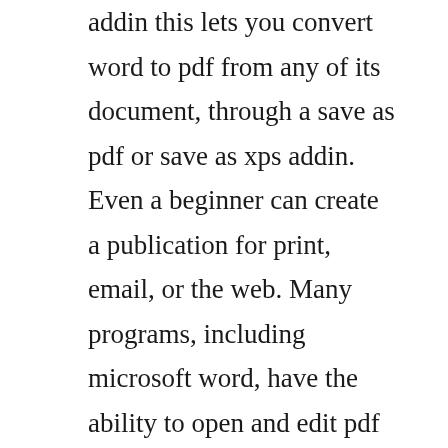addin this lets you convert word to pdf from any of its document, through a save as pdf or save as xps addin. Even a beginner can create a publication for print, email, or the web. Many programs, including microsoft word, have the ability to open and edit pdf files. Convert word 2007 documents to pdf format techrepublic. How to publish word document to pdf file in in microsoft. Scroll to and click enable support for other file formats, such as pdf and xps. Equations are generally deformed or with distorted braces. Click the save as arrow and then click the pdf or xps